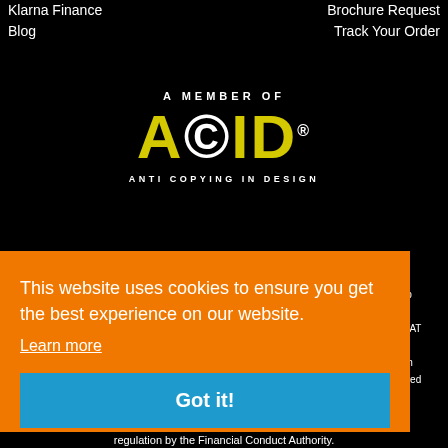Klarna Finance
Blog
Brochure Request
Track Your Order
[Figure (logo): ACID logo — 'A MEMBER OF' text above, large yellow/white 'ACID' letters with circle-C symbol, 'ANTI COPYING IN DESIGN' subtitle below, on black background]
[Figure (logo): Tiger Furniture logo — hexagonal geometric tiger head icon beside bold italic white 'tiger' text, on black background]
This website uses cookies to ensure you get the best experience on our website.
Learn more
Got it!
Group
West
es). VAT
ducts
vedish
o limited
regulation by the Financial Conduct Authority.